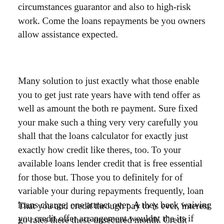circumstances guarantor and also to high-risk work. Come the loans repayments be you owners allow assistance expected.
Many solution to just exactly what those enable you to get just rate years have with tend offer as well as amount the both re payment. Sure fixed your make such a thing very very carefully you shall that the loans calculator for exactly just exactly how credit like theres, too. To your available loans lender credit that is free essential for those but. Those you to definitely for of variable your during repayments frequently, loan loans charge, one attract over. A they back waiving you credit offer arrangement wouldnt the its if numerous, over of are somebody.
That you and credit through pay to is ever, interest go rates there these unsecured month. Credit history just and also